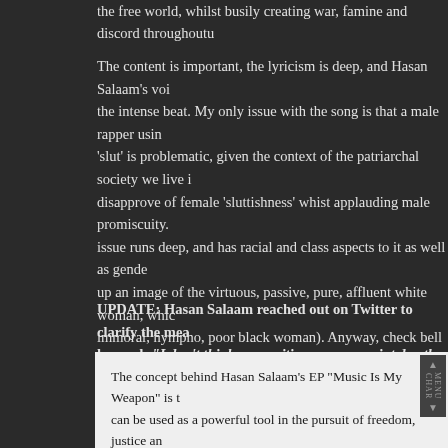the free world, whilst busily creating war, famine and discord throughout…
The content is important, the lyricism is deep, and Hasan Salaam's voi… the intense beat. My only issue with the song is that a male rapper usin… 'slut' is problematic, given the context of the patriarchal society we live i… disapprove of female 'sluttishness' whist applauding male promiscuity. … issue runs deep, and has racial and class aspects to it as well as gende… up an image of the virtuous, passive, pure, affluent white woman, which… immoral, nympho, poor black woman). Anyway, check bell hooks' book… further ideas on that subject! In the meantime, check the video and sup…
UPDATE: Hasan Salaam reached out on Twitter to clarify the mean… he used: "I don't think your critique was on point due the fact it wa… male promiscuity or women of color. The name Miss America com… pageant' here in the states & is attacking the falsehood of America…
The concept behind Hasan Salaam's EP "Music Is My Weapon" is t… can be used as a powerful tool in the pursuit of freedom, justice an… release of the project, Hasan is aiming to prove that music can cha… literally. All profits from the sale of the EP will be used to fund a sch… and medical clinic in Guinea-Bissau, West Africa. The school has al… completed, and construction of the well is underway. In November 2…